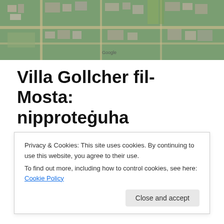[Figure (map): Aerial satellite map view of Mosta area in Malta, showing buildings and streets from above. Google watermark visible.]
Villa Gollcher fil-Mosta: nipproteġuha
Ministri tal-Gvern, u ta' madwarhom, qieshom qegħdin fil-kju għall-prosit wara li tħabbar li Ta' Qali ser ikun estiż biex ikun l-ikbar spazju miftuħ f'Malta. Park Nazzjonali, qalulna.
Privacy & Cookies: This site uses cookies. By continuing to use this website, you agree to their use. To find out more, including how to control cookies, see here: Cookie Policy
Ħawa biss biż-żmien li nistgħu nsiru naru jekk din l-ambixjoni